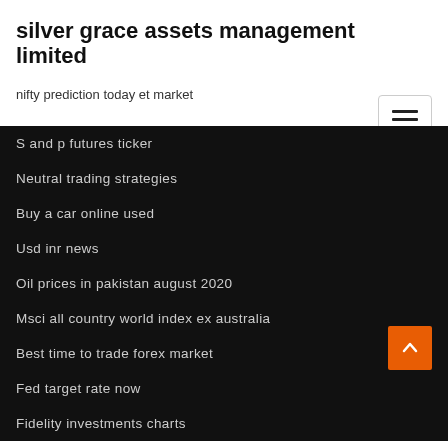silver grace assets management limited
nifty prediction today et market
S and p futures ticker
Neutral trading strategies
Buy a car online used
Usd inr news
Oil prices in pakistan august 2020
Msci all country world index ex australia
Best time to trade forex market
Fed target rate now
Fidelity investments charts